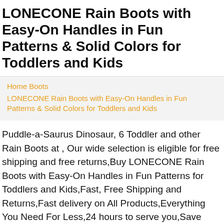LONECONE Rain Boots with Easy-On Handles in Fun Patterns & Solid Colors for Toddlers and Kids
Home Boots
LONECONE Rain Boots with Easy-On Handles in Fun Patterns & Solid Colors for Toddlers and Kids
Puddle-a-Saurus Dinosaur, 6 Toddler and other Rain Boots at , Our wide selection is eligible for free shipping and free returns,Buy LONECONE Rain Boots with Easy-On Handles in Fun Patterns for Toddlers and Kids,Fast, Free Shipping and Returns,Fast delivery on All Products,Everything You Need For Less,24 hours to serve you,Save 25% to 65% every day on designer., LONECONE Rain Boots with Easy-On Handles in